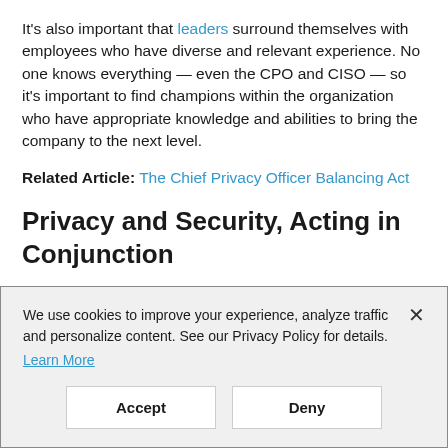It's also important that leaders surround themselves with employees who have diverse and relevant experience. No one knows everything — even the CPO and CISO — so it's important to find champions within the organization who have appropriate knowledge and abilities to bring the company to the next level.
Related Article: The Chief Privacy Officer Balancing Act
Privacy and Security, Acting in Conjunction
Privacy officers have seen a big shift in their roles recently
We use cookies to improve your experience, analyze traffic and personalize content. See our Privacy Policy for details. Learn More